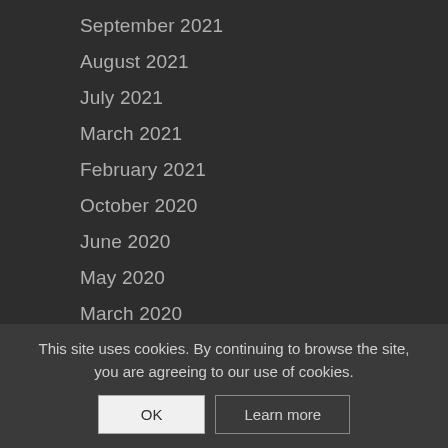September 2021
August 2021
July 2021
March 2021
February 2021
October 2020
June 2020
May 2020
March 2020
January 2020
December 2019
November 2019
October 2019
July 2019
May 2019
April 2019
This site uses cookies. By continuing to browse the site, you are agreeing to our use of cookies.